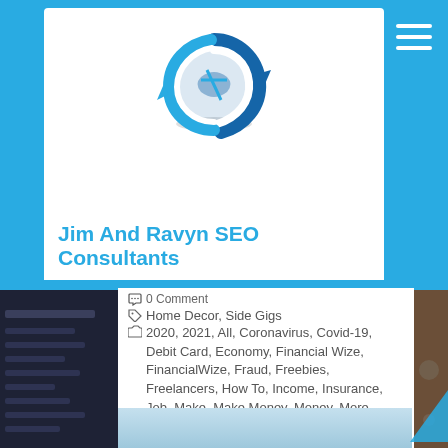[Figure (logo): Jim And Ravyn SEO Consultants logo with circular arrow icon in blue]
Jim And Ravyn SEO Consultants
0 Comment
Home Decor,  Side Gigs
2020, 2021, All, Coronavirus, Covid-19, Debit Card, Economy, Financial Wize, FinancialWize, Fraud, Freebies, Freelancers, How To, Income, Insurance, Job, Make, Make Money, Money, More, Newsy, Original, Pandemic, Paycheck, Repub, Save, Save Money, School, Second, Security, Self-Employment, Side Gigs, Unemployment, Work
[Figure (photo): Article thumbnail image at bottom, partially visible, showing a figure on light blue background]